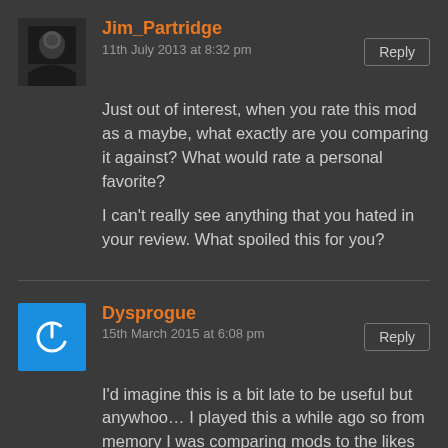[Figure (photo): Avatar photo of Jim_Partridge - dark photo of a person]
Jim_Partridge
11th July 2013 at 8:32 pm
Reply
Just out of interest, when you rate this mod as a maybe, what exactly are you comparing it against? What would rate a personal favorite?
I can't really see anything that you hated in your review. What spoiled this for you?
[Figure (logo): Blue square with white power button icon - Dysprogue avatar]
Dysprogue
15th March 2015 at 6:08 pm
Reply
I'd imagine this is a bit late to be useful but anywhoo… I played this a while ago so from memory I was comparing mods to the likes of Human Error or Research and